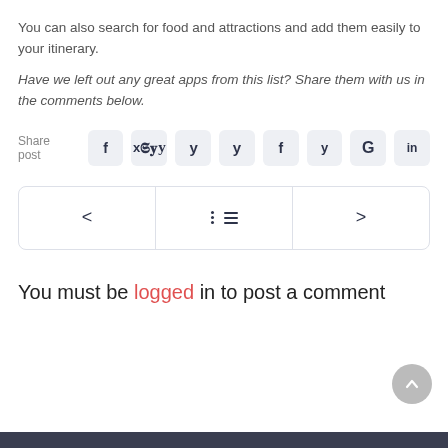You can also search for food and attractions and add them easily to your itinerary.
Have we left out any great apps from this list? Share them with us in the comments below.
Share post [social icons: f, twitter, G, in]
[Figure (other): Navigation bar with back arrow, menu icon, and forward arrow]
You must be logged in to post a comment